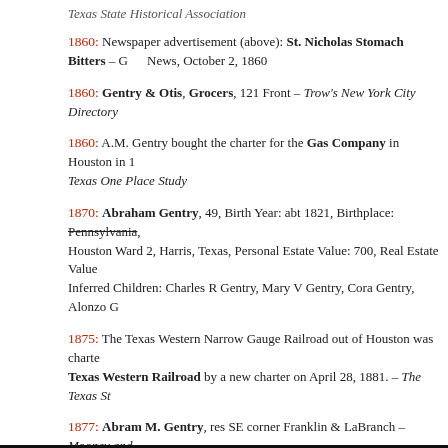Texas State Historical Association
1860: Newspaper advertisement (above): St. Nicholas Stomach Bitters – G... News, October 2, 1860
1860: Gentry & Otis, Grocers, 121 Front – Trow's New York City Directory
1860: A.M. Gentry bought the charter for the Gas Company in Houston in 1... Texas One Place Study
1870: Abraham Gentry, 49, Birth Year: abt 1821, Birthplace: Pennsylvania, Houston Ward 2, Harris, Texas, Personal Estate Value: 700, Real Estate Value... Inferred Children: Charles R Gentry, Mary V Gentry, Cora Gentry, Alonzo G...
1875: The Texas Western Narrow Gauge Railroad out of Houston was charte... Texas Western Railroad by a new charter on April 28, 1881. – The Texas St...
1877: Abram M. Gentry, res SE corner Franklin & LaBranch – Mooney and... Houston, 1877-78
1883: A M Gentry death 20 Feb 1883 (aged 61), Burial, Glenwood Cemete...